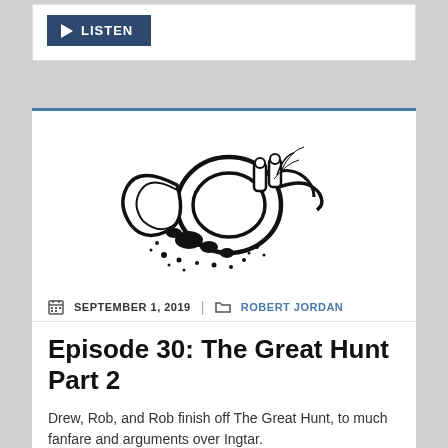[Figure (other): LISTEN button with play icon on dark blue background]
[Figure (illustration): Black and white illustrated French horn with ink splatter effect]
SEPTEMBER 1, 2019 | ROBERT JORDAN
Episode 30: The Great Hunt Part 2
Drew, Rob, and Rob finish off The Great Hunt, to much fanfare and arguments over Ingtar.